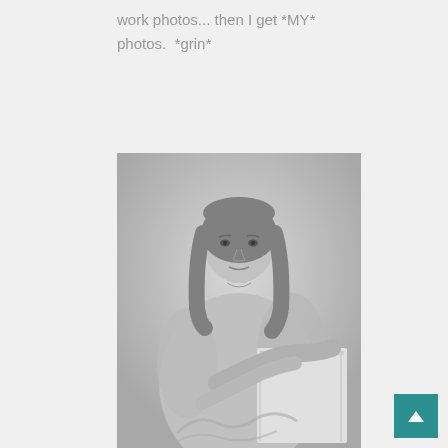work photos... then I get *MY* photos.  *grin*
[Figure (photo): Black and white portrait photograph of a young woman with long straight hair, wearing a lacy long-sleeve dress and a necklace, leaning on a white wooden box or pedestal, looking directly at the camera.]
[Figure (other): Teal/green back-to-top button with an upward-pointing arrow chevron]